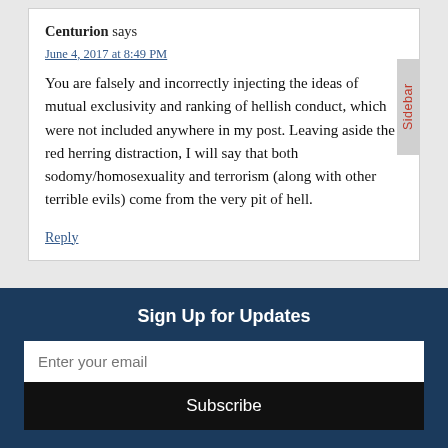Centurion says
June 4, 2017 at 8:49 PM
You are falsely and incorrectly injecting the ideas of mutual exclusivity and ranking of hellish conduct, which were not included anywhere in my post. Leaving aside the red herring distraction, I will say that both sodomy/homosexuality and terrorism (along with other terrible evils) come from the very pit of hell.
Reply
Sign Up for Updates
Enter your email
Subscribe